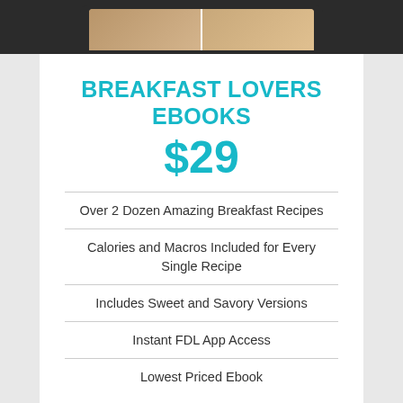[Figure (illustration): Top portion of a tablet/device showing a dark frame with a food image on screen, cropped at top of page]
BREAKFAST LOVERS EBOOKS
$29
Over 2 Dozen Amazing Breakfast Recipes
Calories and Macros Included for Every Single Recipe
Includes Sweet and Savory Versions
Instant FDL App Access
Lowest Priced Ebook